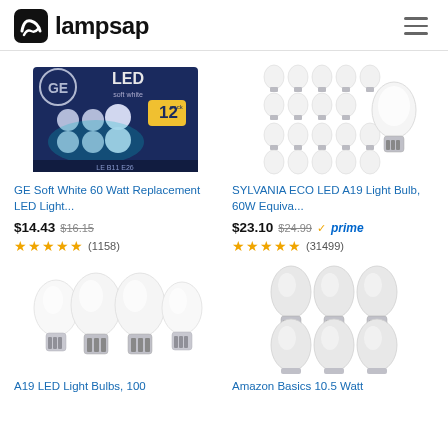lampsap
[Figure (photo): GE LED 12-pack light bulb box with multiple bulbs shown]
GE Soft White 60 Watt Replacement LED Light...
$14.43 $16.15 ★★★★★ (1158)
[Figure (photo): SYLVANIA ECO LED A19 light bulbs arranged in grid with one larger bulb]
SYLVANIA ECO LED A19 Light Bulb, 60W Equiva...
$23.10 $24.99 prime ★★★★★ (31499)
[Figure (photo): Four white A19 LED light bulbs standing upright on white background]
A19 LED Light Bulbs, 100
[Figure (photo): Six Amazon Basics LED bulbs arranged in two rows of three]
Amazon Basics 10.5 Watt